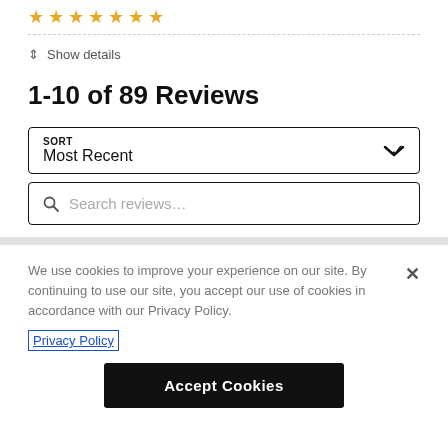[Figure (other): Row of orange star rating icons]
Show details
1-10 of 89 Reviews
SORT
Most Recent
Search reviews…
We use cookies to improve your experience on our site. By continuing to use our site, you accept our use of cookies in accordance with our Privacy Policy.
Privacy Policy
Accept Cookies